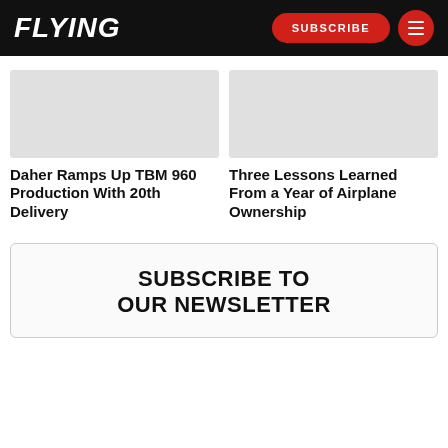FLYING | SUBSCRIBE
Daher Ramps Up TBM 960 Production With 20th Delivery
Three Lessons Learned From a Year of Airplane Ownership
SUBSCRIBE TO OUR NEWSLETTER